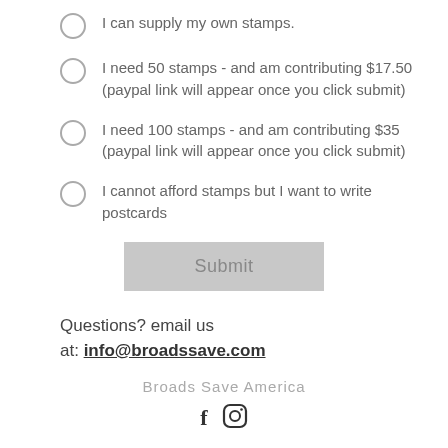I can supply my own stamps.
I need 50 stamps - and am contributing $17.50 (paypal link will appear once you click submit)
I need 100 stamps - and am contributing $35 (paypal link will appear once you click submit)
I cannot afford stamps but I want to write postcards
Submit
Questions? email us at: info@broadssave.com
Broads Save America